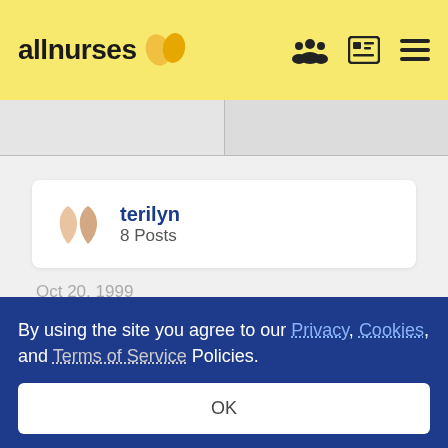allnurses
terilyn
8 Posts
Oct 20, 1999
I think the answer that everyone gave years
By using the site you agree to our Privacy, Cookies, and Terms of Service Policies.
OK
to be a nurse, and I don't know why, I just